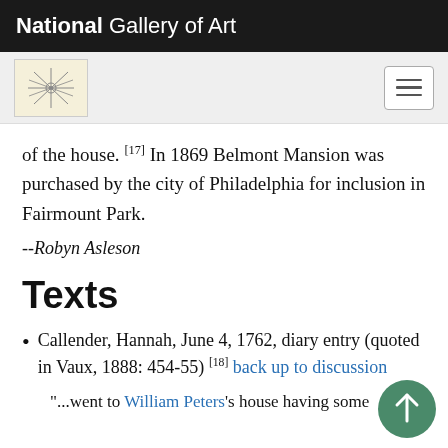National Gallery of Art
of the house. [17] In 1869 Belmont Mansion was purchased by the city of Philadelphia for inclusion in Fairmount Park.
--Robyn Asleson
Texts
Callender, Hannah, June 4, 1762, diary entry (quoted in Vaux, 1888: 454-55) [18] back up to discussion
"...went to William Peters's house having some